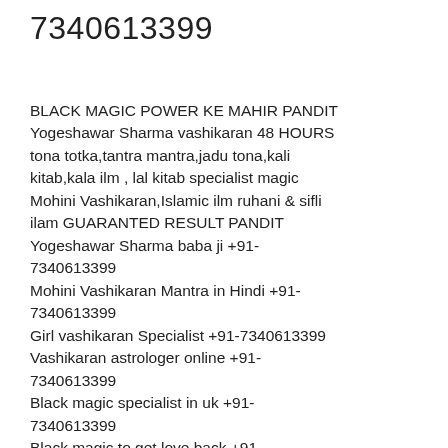7340613399
BLACK MAGIC POWER KE MAHIR PANDIT Yogeshawar Sharma vashikaran 48 HOURS tona totka,tantra mantra,jadu tona,kali kitab,kala ilm , lal kitab specialist magic Mohini Vashikaran,Islamic ilm ruhani & sifli ilam GUARANTED RESULT PANDIT Yogeshawar Sharma baba ji +91-7340613399
Mohini Vashikaran Mantra in Hindi +91-7340613399
Girl vashikaran Specialist +91-7340613399
Vashikaran astrologer online +91-7340613399
Black magic specialist in uk +91-7340613399
Black magic to get love back +91-7340613399
How to get my love back +91-7340613399
Love problem solution +91-7340613399
Vashikaran Mantra for Enemy Palmisth Si...